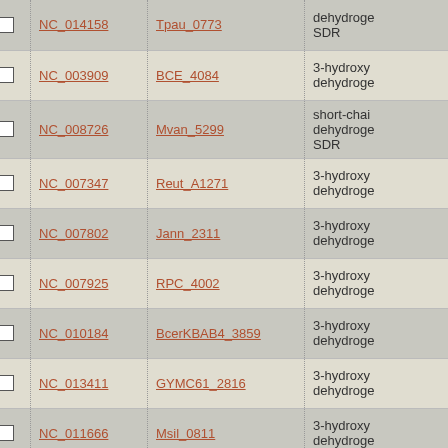|  | Accession | Gene | Description |
| --- | --- | --- | --- |
| ☐ | NC_014158 | Tpau_0773 | dehydrogenase SDR |
| ☐ | NC_003909 | BCE_4084 | 3-hydroxy dehydrogenase |
| ☐ | NC_008726 | Mvan_5299 | short-chain dehydrogenase SDR |
| ☐ | NC_007347 | Reut_A1271 | 3-hydroxy dehydrogenase |
| ☐ | NC_007802 | Jann_2311 | 3-hydroxy dehydrogenase |
| ☐ | NC_007925 | RPC_4002 | 3-hydroxy dehydrogenase |
| ☐ | NC_010184 | BcerKBAB4_3859 | 3-hydroxy dehydrogenase |
| ☐ | NC_013411 | GYMC61_2816 | 3-hydroxy dehydrogenase |
| ☐ | NC_011666 | Msil_0811 | 3-hydroxy dehydrogenase |